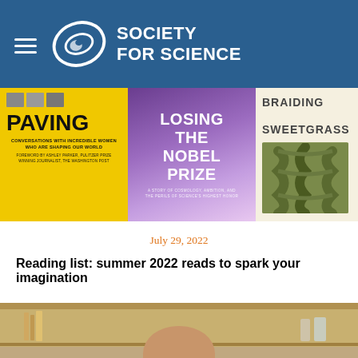SOCIETY FOR SCIENCE
[Figure (photo): Three book covers: 'Paving: Conversations with Incredible Women Who Are Shaping Our World', 'Losing the Nobel Prize: A Story of Cosmology, Ambition, and the Perils of Science's Highest Honor', and 'Braiding Sweetgrass']
July 29, 2022
Reading list: summer 2022 reads to spark your imagination
[Figure (photo): Photo of a person (partially visible, bald head) in what appears to be a laboratory or kitchen setting with shelves in background]